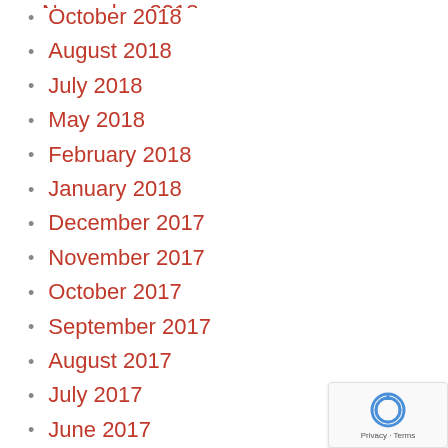October 2018
August 2018
July 2018
May 2018
February 2018
January 2018
December 2017
November 2017
October 2017
September 2017
August 2017
July 2017
June 2017
March 2017
February 2017
January 2017
[Figure (other): Google reCAPTCHA badge with Privacy and Terms links]